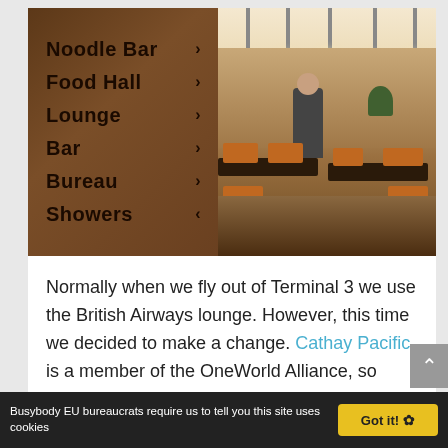[Figure (photo): Airport lounge interior with a wooden directional sign on the left showing Noodle Bar, Food Hall, Lounge, Bar, Bureau, Showers with right-pointing arrows. Right side shows lounge seating area with pendant lights, dark tables, orange chairs, a person standing, and warm wood-paneled walls.]
Normally when we fly out of Terminal 3 we use the British Airways lounge. However, this time we decided to make a change. Cathay Pacific is a member of the OneWorld Alliance, so lounge access is available to British Airways Executive
Busybody EU bureaucrats require us to tell you this site uses cookies   Got it! 🍪